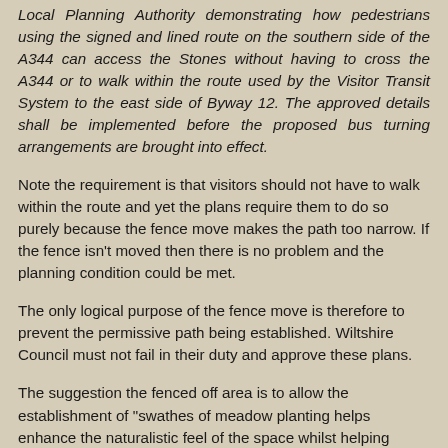Local Planning Authority demonstrating how pedestrians using the signed and lined route on the southern side of the A344 can access the Stones without having to cross the A344 or to walk within the route used by the Visitor Transit System to the east side of Byway 12. The approved details shall be implemented before the proposed bus turning arrangements are brought into effect.
Note the requirement is that visitors should not have to walk within the route and yet the plans require them to do so purely because the fence move makes the path too narrow. If the fence isn't moved then there is no problem and the planning condition could be met.
The only logical purpose of the fence move is therefore to prevent the permissive path being established. Wiltshire Council must not fail in their duty and approve these plans.
The suggestion the fenced off area is to allow the establishment of "swathes of meadow planting helps enhance the naturalistic feel of the space whilst helping integrate the facilities into the natural landscape." doesn't